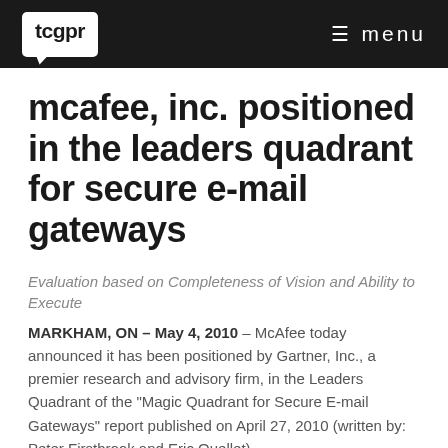tcgpr  menu
mcafee, inc. positioned in the leaders quadrant for secure e-mail gateways
Evaluation based on Completeness of Vision and Ability to Execute
MARKHAM, ON – May 4, 2010 – McAfee today announced it has been positioned by Gartner, Inc., a premier research and advisory firm, in the Leaders Quadrant of the "Magic Quadrant for Secure E-mail Gateways" report published on April 27, 2010 (written by: Peter Firstbrook and Eric Ouellet).